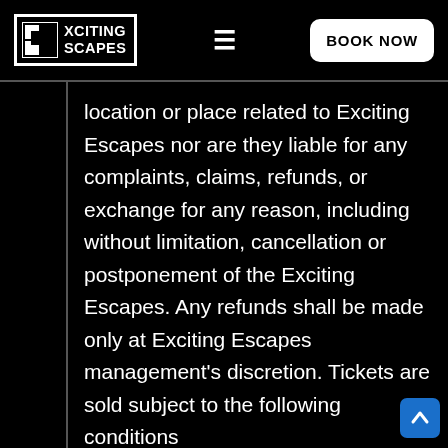EXCITING ESCAPES | BOOK NOW
location or place related to Exciting Escapes nor are they liable for any complaints, claims, refunds, or exchange for any reason, including without limitation, cancellation or postponement of the Exciting Escapes. Any refunds shall be made only at Exciting Escapes management's discretion. Tickets are sold subject to the following conditions